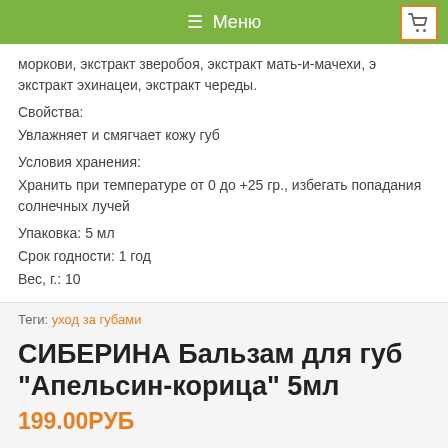≡ Меню
моркови, экстракт зверобоя, экстракт мать-и-мачехи, экстракт эхинацеи, экстракт череды.
Свойства:
Увлажняет и смягчает кожу губ
Условия хранения:
Хранить при температуре от 0 до +25 гр., избегать попадания солнечных лучей
Упаковка: 5 мл
Срок годности: 1 год
Вес, г.: 10
Теги: уход за губами
СИБЕРИНА Бальзам для губ "Апельсин-корица" 5мл
199.00РУБ